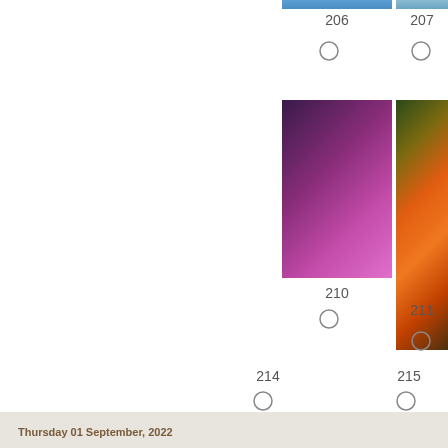[Figure (photo): Yarn skein number 206 - blue/teal colored yarn, partially visible at top]
[Figure (photo): Yarn skein number 207 - blue colored yarn, partially visible at top]
206
207
[Figure (photo): Yarn skein number 210 - purple/magenta colored yarn on dark background]
[Figure (photo): Yarn skein number 211 - orange/multicolor yarn skein on dark background]
210
211
214
215
Thursday 01 September, 2022